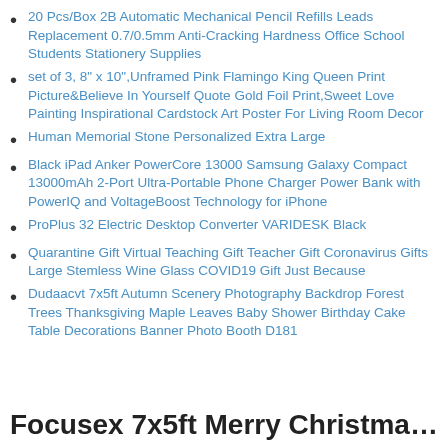20 Pcs/Box 2B Automatic Mechanical Pencil Refills Leads Replacement 0.7/0.5mm Anti-Cracking Hardness Office School Students Stationery Supplies
set of 3, 8" x 10",Unframed Pink Flamingo King Queen Print Picture&Believe In Yourself Quote Gold Foil Print,Sweet Love Painting Inspirational Cardstock Art Poster For Living Room Decor
Human Memorial Stone Personalized Extra Large
Black iPad Anker PowerCore 13000 Samsung Galaxy Compact 13000mAh 2-Port Ultra-Portable Phone Charger Power Bank with PowerIQ and VoltageBoost Technology for iPhone
ProPlus 32 Electric Desktop Converter VARIDESK Black
Quarantine Gift Virtual Teaching Gift Teacher Gift Coronavirus Gifts Large Stemless Wine Glass COVID19 Gift Just Because
Dudaacvt 7x5ft Autumn Scenery Photography Backdrop Forest Trees Thanksgiving Maple Leaves Baby Shower Birthday Cake Table Decorations Banner Photo Booth D181
Focusex 7x5ft Merry Christmas Backd...